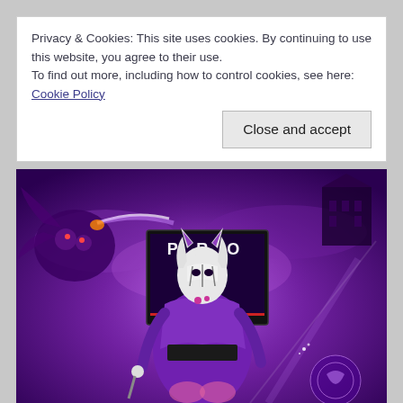Privacy & Cookies: This site uses cookies. By continuing to use this website, you agree to their use.
To find out more, including how to control cookies, see here: Cookie Policy
Close and accept
[Figure (illustration): A video game promotional image showing a female fighter character in a purple kimono outfit wearing a white fox/demon mask with purple horns and white hair. She stands in front of a gaming monitor displaying the word PRO. The background features a purple mystical scene with a monster creature on the left, a Japanese castle on the right, and glowing purple clouds and energy effects. The character holds weapons and has an elaborate costume with armored elements.]